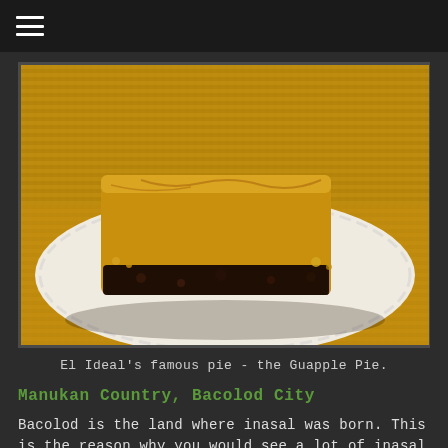[Figure (photo): A slice of El Ideal's famous Guapple Pie on a white paper plate, set against a yellow woven mat background. The pie has a golden-brown crust top with dark fruit filling visible.]
El Ideal's famous pie - the Guapple Pie.
Manukan Country, Bacolod City
Bacolod is the land where inasal was born. This is the reason why you would see a lot of inasal restaurants peppered in the city. In